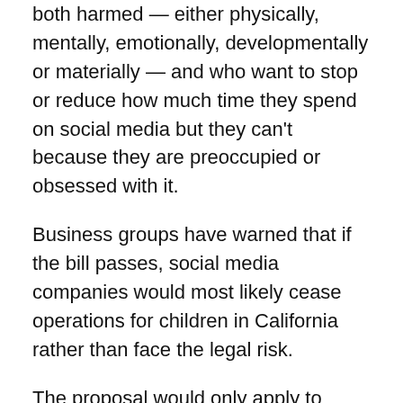both harmed — either physically, mentally, emotionally, developmentally or materially — and who want to stop or reduce how much time they spend on social media but they can't because they are preoccupied or obsessed with it.
Business groups have warned that if the bill passes, social media companies would most likely cease operations for children in California rather than face the legal risk.
The proposal would only apply to social media companies that had at least $100 million in gross revenue in the past year, appearing to take aim at social media giants like Facebook and others that dominate the marketplace.
It would not apply to streaming services like Netflix and